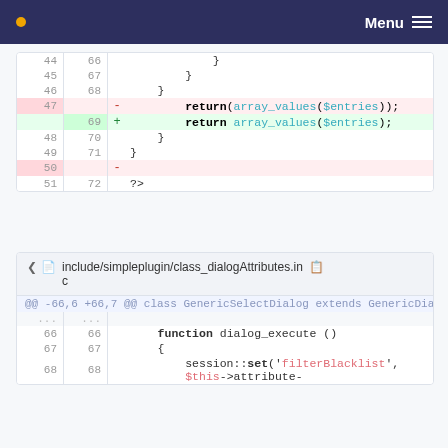Menu
[Figure (screenshot): Code diff showing lines 44-51 (old) / 66-72 (new). Line 47/- has 'return(array_values($entries));' removed (red). Line 69/+ has 'return array_values($entries);' added (green). Line 50/- is empty deleted line.]
include/simpleplugin/class_dialogAttributes.inc
[Figure (screenshot): Code diff for class_dialogAttributes.inc showing hunk @@ -66,6 +66,7 @@ class GenericSelectDialog extends GenericDialog. Lines 66-68 shown: function dialog_execute (), {, session::set('filterBlacklist', $this->attribute-]